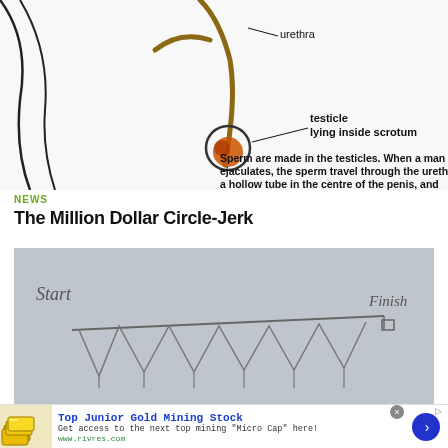[Figure (illustration): Educational anatomy diagram showing urethra and testicle lying inside scrotum with labeled arrows. Text reads: 'Sperm are made in the testicles. When a man ejaculates, the sperm travel through the urethra, a hollow tube in the centre of the penis, and squirt out from an opening in the glans.']
NEWS
The Million Dollar Circle-Jerk
[Figure (photo): Hand-drawn diagram on gray paper showing a zigzag/sawtooth line pattern from 'Start' on the left to 'Finish' on the right, with a small box at the finish line.]
[Figure (infographic): Advertisement banner: 'Top Junior Gold Mining Stock' - Get access to the next top mining "Micro Cap" here! www.rivres.com. Shows gold bar image and blue arrow button.]